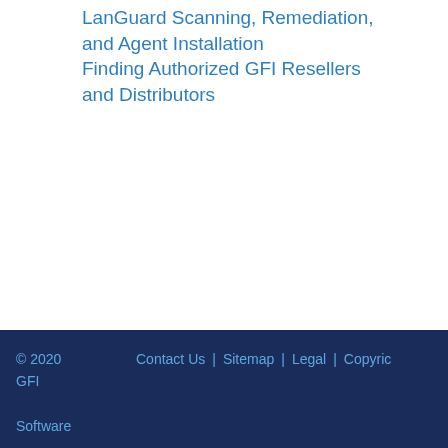LanGuard Scanning, Remediation, and Agent Installation
Finding Authorized GFI Resellers and Distributors
© 2020 GFI Software  |  Contact Us  |  Sitemap  |  Legal  |  Copyright